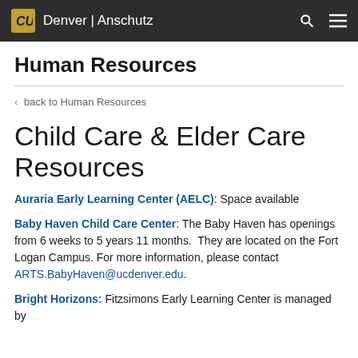CU Denver | Anschutz
Human Resources
< back to Human Resources
Child Care & Elder Care Resources
Auraria Early Learning Center (AELC): Space available
Baby Haven Child Care Center: The Baby Haven has openings from 6 weeks to 5 years 11 months. They are located on the Fort Logan Campus. For more information, please contact ARTS.BabyHaven@ucdenver.edu.
Bright Horizons: Fitzsimons Early Learning Center is managed by